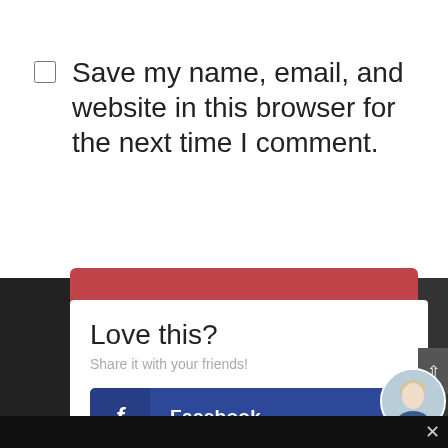Save my name, email, and website in this browser for the next time I comment.
Love this?
Share it with your friends!
Facebook
Pinterest
LinkedIn
...